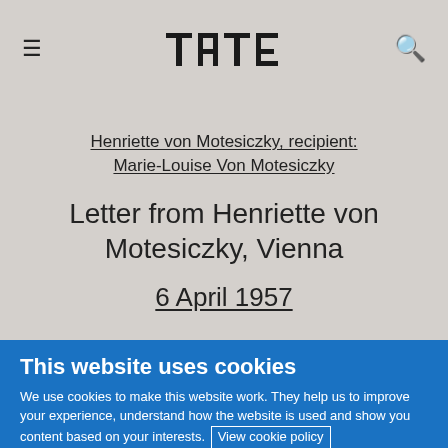Tate logo, hamburger menu, search icon
Henriette von Motesiczky, recipient: Marie-Louise Von Motesiczky
Letter from Henriette von Motesiczky, Vienna
6 April 1957
This website uses cookies
We use cookies to make this website work. They help us to improve your experience, understand how the website is used and show you content based on your interests. View cookie policy